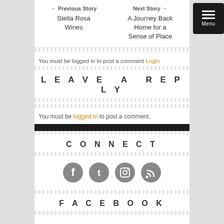← Previous Story Stella Rosa Wines
Next Story → A Journey Back Home for a Sense of Place
You must be logged in to post a comment Login
LEAVE A REPLY
You must be logged in to post a comment.
CONNECT
[Figure (infographic): Four social media icons: Facebook, Twitter, Instagram, RSS feed]
FACEBOOK